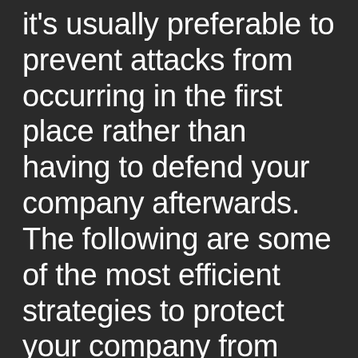It's usually preferable to prevent attacks from occurring in the first place rather than having to defend your company afterwards. The following are some of the most efficient strategies to protect your company from these disastrous password-related attacks: Implementing a password policy Enforcing a strong multi-factor authentication Investing in